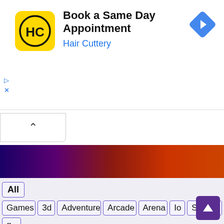[Figure (screenshot): Hair Cuttery advertisement banner with yellow logo showing HC initials, title 'Book a Same Day Appointment', subtitle 'Hair Cuttery' in blue, and a blue diamond navigation arrow icon on the right.]
Book a Same Day Appointment
Hair Cuttery
[Figure (infographic): A gradient bar transitioning from dark purple/navy on the left to dark orange/red on the right.]
All
Games
3d
Adventure
Arcade
Arena
Io
Shooting